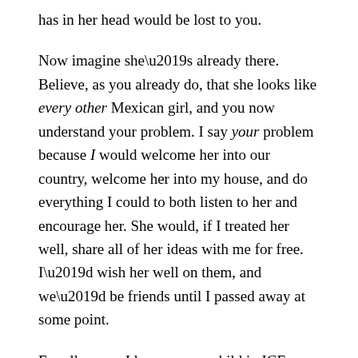has in her head would be lost to you.
Now imagine she’s already there. Believe, as you already do, that she looks like every other Mexican girl, and you now understand your problem. I say your problem because I would welcome her into our country, welcome her into my house, and do everything I could to both listen to her and encourage her. She would, if I treated her well, share all of her ideas with me for free. I’d wish her well on them, and we’d be friends until I passed away at some point.
For all you or I know, every child in ICE custody has the same ideas or gifts that she does. All of that wealth will never be yours, simply because you chose not to see it. That is what racism does.